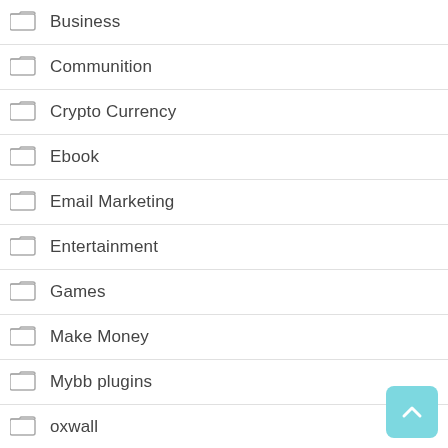Business
Communition
Crypto Currency
Ebook
Email Marketing
Entertainment
Games
Make Money
Mybb plugins
oxwall
Pay Per Click
Personalization
Phpfox
Premium Accounts
Racing